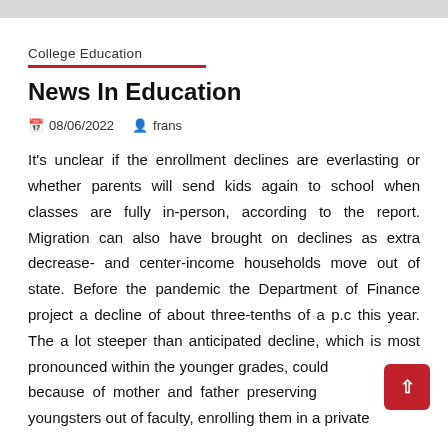College Education
News In Education
08/06/2022   frans
It's unclear if the enrollment declines are everlasting or whether parents will send kids again to school when classes are fully in-person, according to the report. Migration can also have brought on declines as extra decrease- and center-income households move out of state. Before the pandemic the Department of Finance project a decline of about three-tenths of a p.c this year. The a lot steeper than anticipated decline, which is most pronounced within the younger grades, could be because of mother and father preserving their youngsters out of faculty, enrolling them in a private